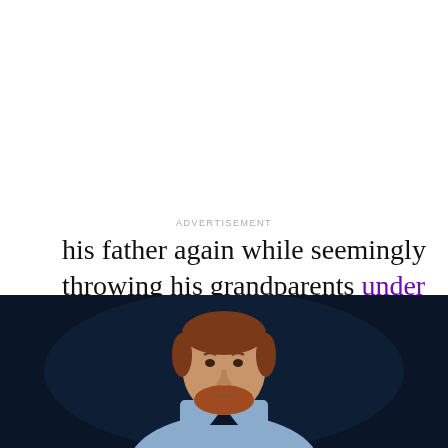his father again while seemingly throwing his grandparents under the bus as well when he talked about his upbringing on the Armchair Expert.
[Figure (photo): Prince Harry (a red-haired, bearded man in a light blue shirt) photographed against a dark background, shown from the chest up, looking slightly to the side with a serious expression.]